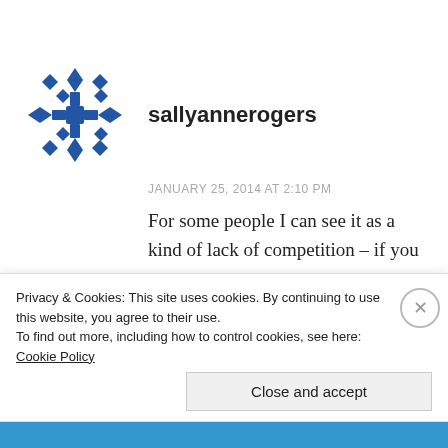[Figure (logo): Blue snowflake/geometric pattern avatar icon for user sallyannerogers]
sallyannerogers
JANUARY 25, 2014 AT 2:10 PM
For some people I can see it as a kind of lack of competition – if you are het and you watch het porn then there's always a 'competing' participant of your own gender. But if you are
Privacy & Cookies: This site uses cookies. By continuing to use this website, you agree to their use.
To find out more, including how to control cookies, see here: Cookie Policy
Close and accept